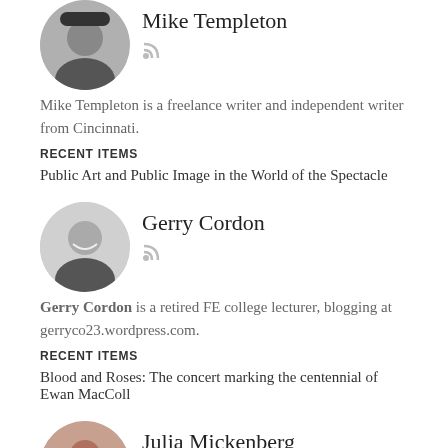Mike Templeton
[Figure (photo): Circular profile photo of Mike Templeton, a bearded man wearing a hat]
Mike Templeton is a freelance writer and independent writer from Cincinnati.
RECENT ITEMS
Public Art and Public Image in the World of the Spectacle
Gerry Cordon
[Figure (photo): Circular profile photo of Gerry Cordon, a smiling man in a dark shirt]
Gerry Cordon is a retired FE college lecturer, blogging at gerryco23.wordpress.com.
RECENT ITEMS
Blood and Roses: The concert marking the centennial of Ewan MacColl
Julia Mickenberg
[Figure (photo): Circular profile photo of Julia Mickenberg, a woman with glasses]